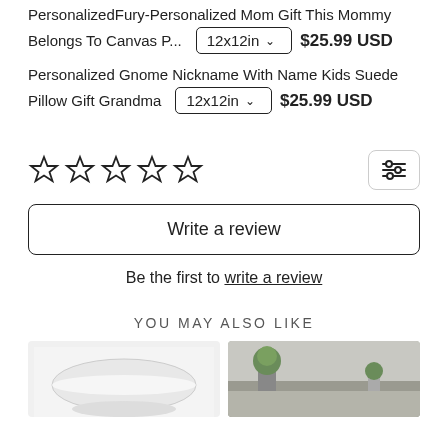PersonalizedFury-Personalized Mom Gift This Mommy Belongs To Canvas P... 12x12in  $25.99 USD
Personalized Gnome Nickname With Name Kids Suede Pillow Gift Grandma 12x12in  $25.99 USD
☆☆☆☆☆
Write a review
Be the first to write a review
YOU MAY ALSO LIKE
[Figure (photo): Two product thumbnail images partially visible at the bottom - a white bowl/mug on the left and a scene with plants on the right]